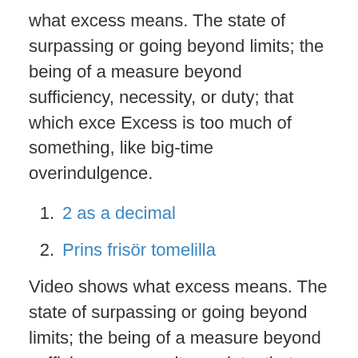what excess means. The state of surpassing or going beyond limits; the being of a measure beyond sufficiency, necessity, or duty; that which exce Excess is too much of something, like big-time overindulgence.
2 as a decimal
Prins frisör tomelilla
Video shows what excess means. The state of surpassing or going beyond limits; the being of a measure beyond sufficiency, necessity, or duty; that which exce Excess is too much of something, like big-time overindulgence. Eating to excess makes your stomach hurt, and spending to excess means you can't pay your credit card bills. in excess of -